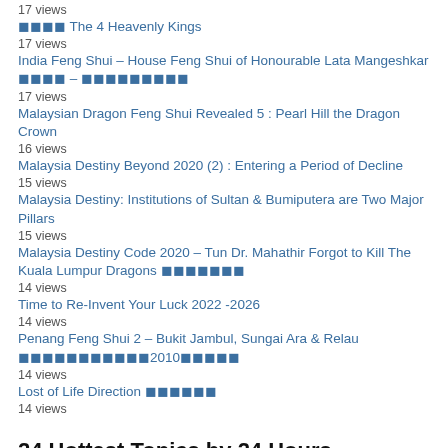17 views
🀄🀄🀄🀄 The 4 Heavenly Kings
17 views
India Feng Shui – House Feng Shui of Honourable Lata Mangeshkar 🀄🀄🀄🀄 – 🀄🀄🀄🀄🀄🀄🀄🀄🀄
17 views
Malaysian Dragon Feng Shui Revealed 5 : Pearl Hill the Dragon Crown
16 views
Malaysia Destiny Beyond 2020 (2) : Entering a Period of Decline
15 views
Malaysia Destiny: Institutions of Sultan & Bumiputera are Two Major Pillars
15 views
Malaysia Destiny Code 2020 – Tun Dr. Mahathir Forgot to Kill The Kuala Lumpur Dragons 🀄🀄🀄🀄🀄🀄🀄
14 views
Time to Re-Invent Your Luck 2022 -2026
14 views
Penang Feng Shui 2 – Bukit Jambul, Sungai Ara & Relau 🀄🀄🀄🀄🀄🀄🀄🀄🀄🀄🀄2010🀄🀄🀄🀄🀄
14 views
Lost of Life Direction 🀄🀄🀄🀄🀄🀄
14 views
24 Hottest Topics by 24 Hours
Decode Najib Razak Destiny III